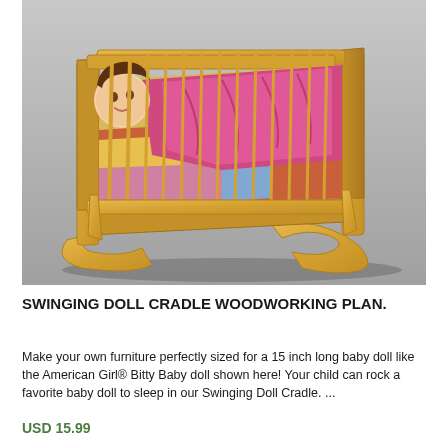[Figure (photo): A wooden swinging doll cradle painted yellow, with vertical spindle rails on the sides. A baby doll with a pink outfit is lying inside the cradle on a colorful patterned mattress. The cradle sits on two curved rocker-style feet.]
SWINGING DOLL CRADLE WOODWORKING PLAN.
Make your own furniture perfectly sized for a 15 inch long baby doll like the American Girl® Bitty Baby doll shown here! Your child can rock a favorite baby doll to sleep in our Swinging Doll Cradle. ...
USD 15.99